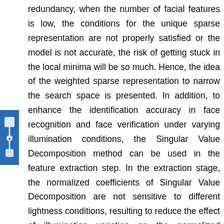redundancy, when the number of facial features is low, the conditions for the unique sparse representation are not properly satisfied or the model is not accurate, the risk of getting stuck in the local minima will be so much. Hence, the idea of the weighted sparse representation to narrow the search space is presented. In addition, to enhance the identification accuracy in face recognition and face verification under varying illumination conditions, the Singular Value Decomposition method can be used in the feature extraction step. In the extraction stage, the normalized coefficients of Singular Value Decomposition are not sensitive to different lightness conditions, resulting to reduce the effect of illumination variation on the normalized images.